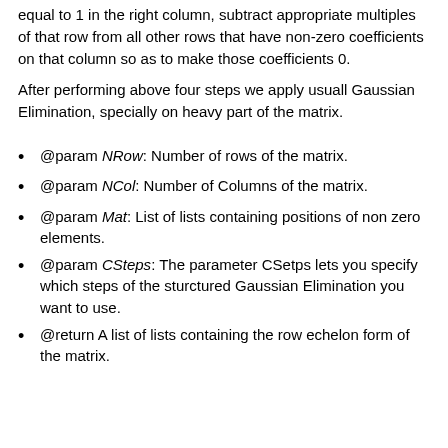equal to 1 in the right column, subtract appropriate multiples of that row from all other rows that have non-zero coefficients on that column so as to make those coefficients 0.
After performing above four steps we apply usuall Gaussian Elimination, specially on heavy part of the matrix.
@param NRow: Number of rows of the matrix.
@param NCol: Number of Columns of the matrix.
@param Mat: List of lists containing positions of non zero elements.
@param CSteps: The parameter CSetps lets you specify which steps of the sturctured Gaussian Elimination you want to use.
@return A list of lists containing the row echelon form of the matrix.